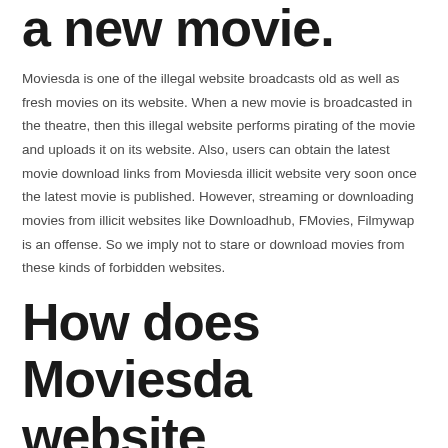a new movie.
Moviesda is one of the illegal website broadcasts old as well as fresh movies on its website. When a new movie is broadcasted in the theatre, then this illegal website performs pirating of the movie and uploads it on its website. Also, users can obtain the latest movie download links from Moviesda illicit website very soon once the latest movie is published. However, streaming or downloading movies from illicit websites like Downloadhub, FMovies, Filmywap is an offense. So we imply not to stare or download movies from these kinds of forbidden websites.
How does Moviesda website